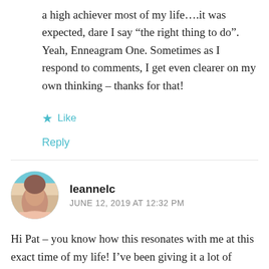a high achiever most of my life....it was expected, dare I say “the right thing to do”. Yeah, Enneagram One. Sometimes as I respond to comments, I get even clearer on my own thinking – thanks for that!
★ Like
Reply
leannelc
JUNE 12, 2019 AT 12:32 PM
Hi Pat – you know how this resonates with me at this exact time of my life! I’ve been giving it a lot of thought and two things impacted on what